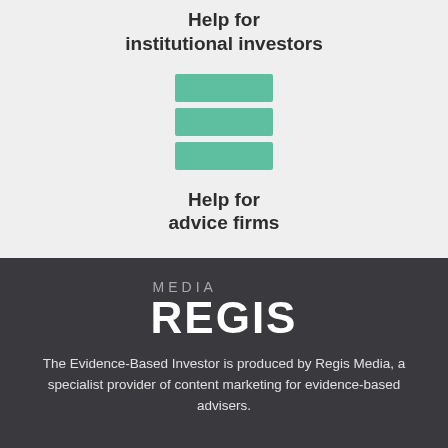Help for institutional investors
[Figure (illustration): Three horizontal teal/green rectangular bars stacked vertically, resembling a hamburger menu icon]
Help for advice firms
[Figure (logo): Regis Media logo in white on dark background]
The Evidence-Based Investor is produced by Regis Media, a specialist provider of content marketing for evidence-based advisers.